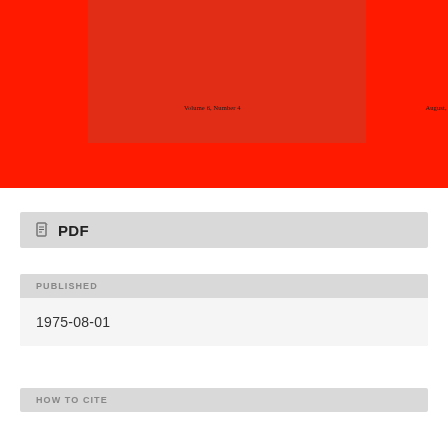[Figure (photo): Cover image of a journal or publication with a bright red background and a lighter pinkish-red rectangular inset. The inset shows text: 'Volume 6, Number 4' on the left and 'August, 1975' on the right.]
PDF
PUBLISHED
1975-08-01
HOW TO CITE